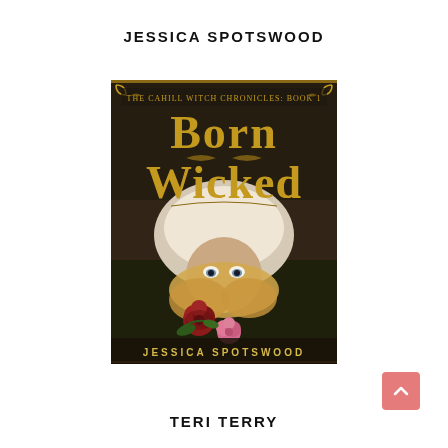JESSICA SPOTSWOOD
[Figure (illustration): Book cover of 'Born Wicked' by Jessica Spotswood. The Cahill Witch Chronicles: Book 1. Shows a young woman with blonde hair lying upside down on grass with red and pink roses near her face. Dark, moody atmospheric cover with decorative gold/brown title lettering.]
TERI TERRY